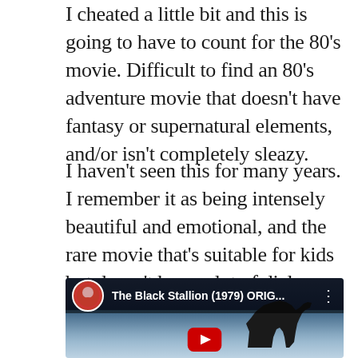I cheated a little bit and this is going to have to count for the 80's movie. Difficult to find an 80's adventure movie that doesn't have fantasy or supernatural elements, and/or isn't completely sleazy.
I haven't seen this for many years. I remember it as being intensely beautiful and emotional, and the rare movie that's suitable for kids but doesn't have a lot of dialogue. It will be interesting to see how it holds up. Damien doesn't like it, but I forget why.
[Figure (screenshot): YouTube video thumbnail for 'The Black Stallion (1979) ORIG...' showing a dark horse silhouette against a shimmering water background, with a YouTube play button. A circular avatar of a woman appears in the top left of the video bar.]